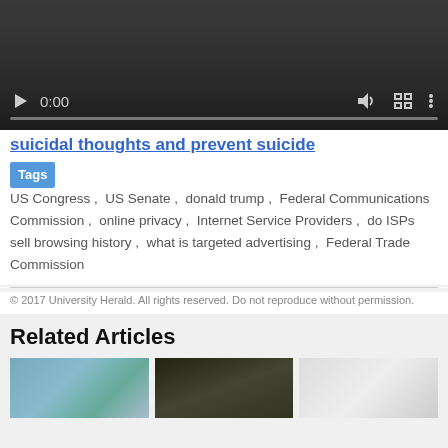[Figure (screenshot): Embedded video player with dark background, play button, time display showing 0:00, volume, fullscreen and more options controls, and a progress bar]
suicidal thoughts and prevent suicide
Tags  US Congress ,  US Senate ,  donald trump ,  Federal Communications Commission ,  online privacy ,  Internet Service Providers ,  do ISPs sell browsing history ,  what is targeted advertising ,  Federal Trade Commission
© 2017 University Herald. All rights reserved. Do not reproduce without permission.
Related Articles
[Figure (photo): Three thumbnail images for related articles shown at the bottom of the page]